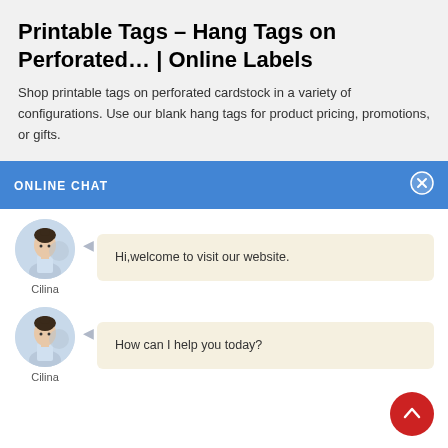Printable Tags – Hang Tags on Perforated… | Online Labels
Shop printable tags on perforated cardstock in a variety of configurations. Use our blank hang tags for product pricing, promotions, or gifts.
ONLINE CHAT
[Figure (screenshot): Chat widget showing agent Cilina avatar with message: Hi,welcome to visit our website.]
[Figure (screenshot): Chat widget showing agent Cilina avatar with message: How can I help you today?]